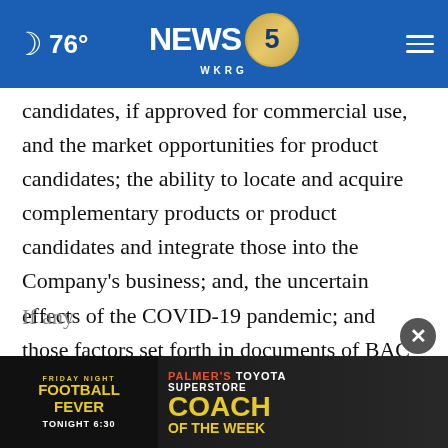76° NEWS 5 WKRG
candidates, if approved for commercial use, and the market opportunities for product candidates; the ability to locate and acquire complementary products or product candidates and integrate those into the Company's business; and, the uncertain effects of the COVID-19 pandemic; and those factors set forth in documents of BAC filed, or to be filed, with SEC. The foregoing list of risks is not exhaustive.
If any
assumptions prove incorrect, actual results
[Figure (screenshot): Friday Night Football Fever - Palmer's Toyota Superstore Coach of the Week - Tonight 6:30 advertisement banner]